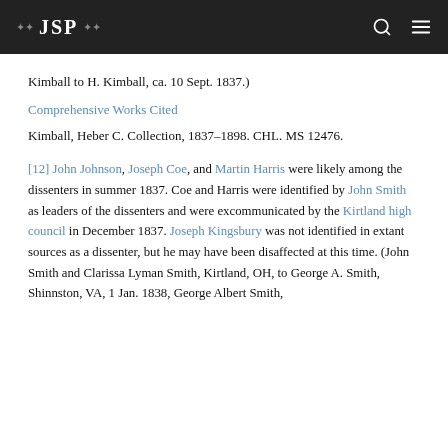JSP
Kimball to H. Kimball, ca. 10 Sept. 1837.)
Comprehensive Works Cited
Kimball, Heber C. Collection, 1837–1898. CHL. MS 12476.
[12] John Johnson, Joseph Coe, and Martin Harris were likely among the dissenters in summer 1837. Coe and Harris were identified by John Smith as leaders of the dissenters and were excommunicated by the Kirtland high council in December 1837. Joseph Kingsbury was not identified in extant sources as a dissenter, but he may have been disaffected at this time. (John Smith and Clarissa Lyman Smith, Kirtland, OH, to George A. Smith, Shinnston, VA, 1 Jan. 1838, George Albert Smith,